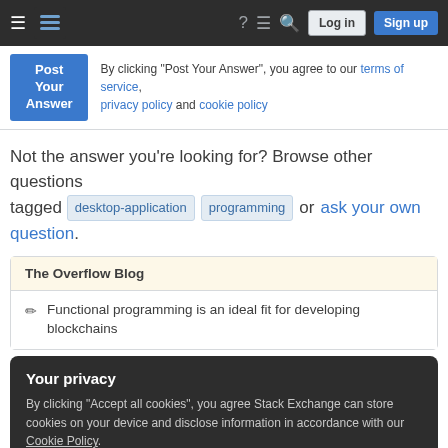Stack Overflow navigation bar with Log in and Sign up buttons
By clicking "Post Your Answer", you agree to our terms of service, privacy policy and cookie policy
Not the answer you're looking for? Browse other questions tagged desktop-application programming or ask your own question.
The Overflow Blog
Functional programming is an ideal fit for developing blockchains
Your privacy
By clicking "Accept all cookies", you agree Stack Exchange can store cookies on your device and disclose information in accordance with our Cookie Policy.
Accept all cookies | Customize settings
Google Analytics 4 (GA4) upgrade